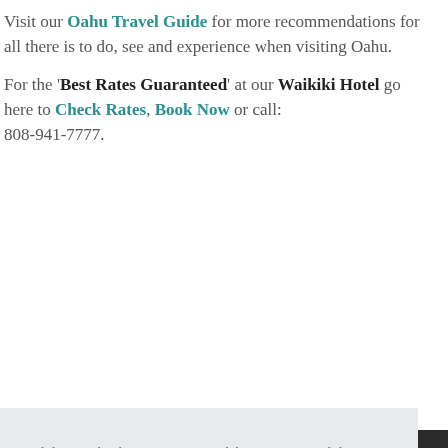Visit our Oahu Travel Guide for more recommendations for all there is to do, see and experience when visiting Oahu.
For the 'Best Rates Guaranteed' at our Waikiki Hotel go here to Check Rates, Book Now or call: 808-941-7777.
This website uses cookies to provide you with the best possible experience. You may choose to enable or disable cookies in your browser's policy settings.
Learn more
Got it!